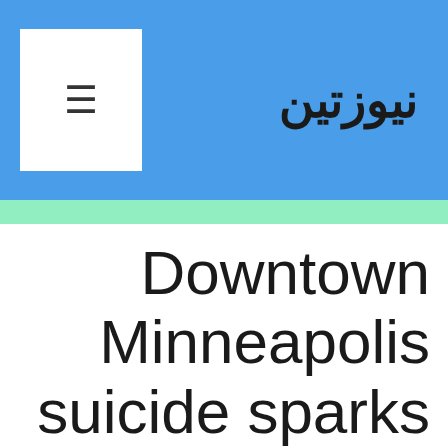نيوزتين
Downtown Minneapolis suicide sparks night of confusion, clashes, looting